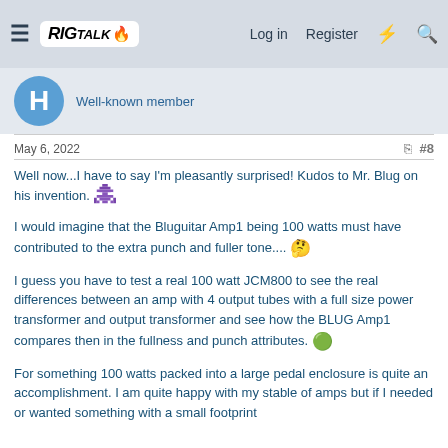RIG TALK — Log in  Register
Well-known member
May 6, 2022  #8
Well now...I have to say I'm pleasantly surprised! Kudos to Mr. Blug on his invention.
I would imagine that the Bluguitar Amp1 being 100 watts must have contributed to the extra punch and fuller tone....
I guess you have to test a real 100 watt JCM800 to see the real differences between an amp with 4 output tubes with a full size power transformer and output transformer and see how the BLUG Amp1 compares then in the fullness and punch attributes.
For something 100 watts packed into a large pedal enclosure is quite an accomplishment. I am quite happy with my stable of amps but if I needed or wanted something with a small footprint